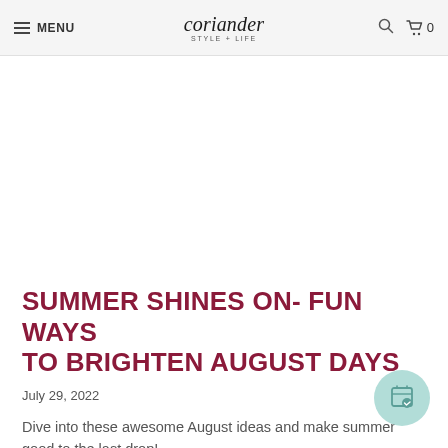MENU | coriander STYLE + LIFE | search | cart 0
[Figure (photo): Hero image area (blank/white placeholder) for the article about summer August ideas]
SUMMER SHINES ON- FUN WAYS TO BRIGHTEN AUGUST DAYS
July 29, 2022
Dive into these awesome August ideas and make summer good to the last drop!